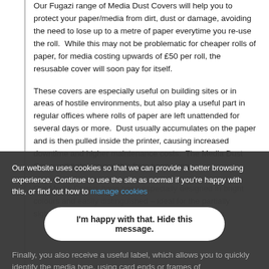Our Fugazi range of Media Dust Covers will help you to protect your paper/media from dirt, dust or damage, avoiding the need to lose up to a metre of paper everytime you re-use the roll.  While this may not be problematic for cheaper rolls of paper, for media costing upwards of £50 per roll, the resusable cover will soon pay for itself.
These covers are especially useful on building sites or in areas of hostile environments, but also play a useful part in regular offices where rolls of paper are left unattended for several days or more.  Dust usually accumulates on the paper and is then pulled inside the printer, causing increased downtime and higher maintenance costs.  The Media Dust Cover will help prevent this from happening.
Our Media Covers have been especially designed in bright colours and easily distinguished – ideal for the partially sighted.  The ergonomic design allows for easy fitting.
Our website uses cookies so that we can provide a better browsing experience. Continue to use the site as normal if you're happy with this, or find out how to manage cookies
I'm happy with that. Hide this message.
Finally, you also receive a useful label, which allows you to quickly identify the media type, using card ends or frames of